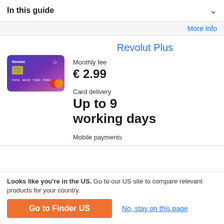In this guide
More Info
Revolut Plus
[Figure (photo): Revolut Plus credit card — blue-to-pink gradient Mastercard with contactless symbol]
Monthly fee
€ 2.99
Card delivery
Up to 9 working days
Mobile payments
Looks like you're in the US. Go to our US site to compare relevant products for your country.
Go to Finder US
No, stay on this page